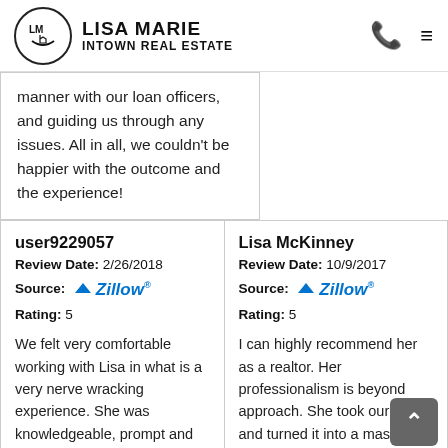LISA MARIE INTOWN REAL ESTATE
manner with our loan officers, and guiding us through any issues. All in all, we couldn't be happier with the outcome and the experience!
user9229057
Review Date: 2/26/2018
Source: Zillow
Rating: 5

We felt very comfortable working with Lisa in what is a very nerve wracking experience. She was knowledgeable, prompt and
Lisa McKinney
Review Date: 10/9/2017
Source: Zillow
Rating: 5

I can highly recommend her as a realtor. Her professionalism is beyond approach. She took our home and turned it into a masterful